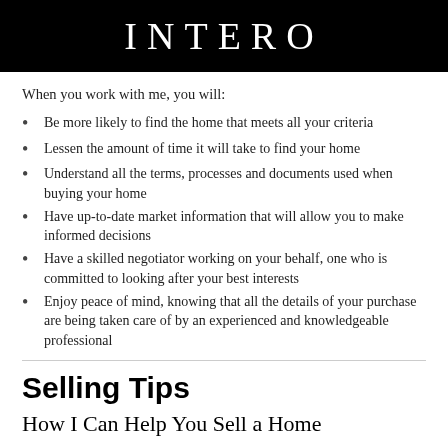INTERO
When you work with me, you will:
Be more likely to find the home that meets all your criteria
Lessen the amount of time it will take to find your home
Understand all the terms, processes and documents used when buying your home
Have up-to-date market information that will allow you to make informed decisions
Have a skilled negotiator working on your behalf, one who is committed to looking after your best interests
Enjoy peace of mind, knowing that all the details of your purchase are being taken care of by an experienced and knowledgeable professional
Selling Tips
How I Can Help You Sell a Home